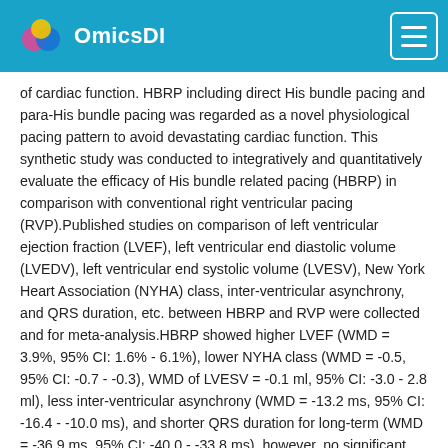OmicsDI
of cardiac function. HBRP including direct His bundle pacing and para-His bundle pacing was regarded as a novel physiological pacing pattern to avoid devastating cardiac function. This synthetic study was conducted to integratively and quantitatively evaluate the efficacy of His bundle related pacing (HBRP) in comparison with conventional right ventricular pacing (RVP).Published studies on comparison of left ventricular ejection fraction (LVEF), left ventricular end diastolic volume (LVEDV), left ventricular end systolic volume (LVESV), New York Heart Association (NYHA) class, inter-ventricular asynchrony, and QRS duration, etc. between HBRP and RVP were collected and for meta-analysis.HBRP showed higher LVEF (WMD = 3.9%, 95% CI: 1.6% - 6.1%), lower NYHA class (WMD = -0.5, 95% CI: -0.7 - -0.3), WMD of LVESV = -0.1 ml, 95% CI: -3.0 - 2.8 ml), less inter-ventricular asynchrony (WMD = -13.2 ms, 95% CI: -16.4 - -10.0 ms), and shorter QRS duration for long-term (WMD = -36.9 ms, 95% CI: -40.0 - -33.8 ms), however, no significant difference of ventricular volume (WMDLVEDV = -2.4 ml, 95% CI: -5.0 -